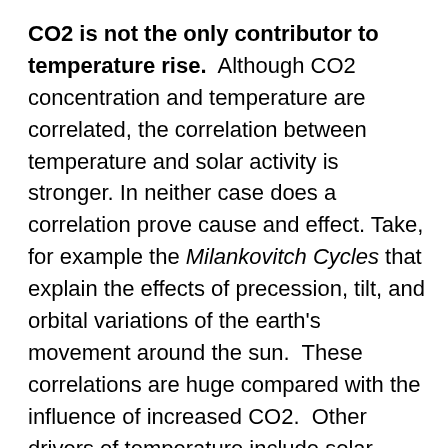CO2 is not the only contributor to temperature rise. Although CO2 concentration and temperature are correlated, the correlation between temperature and solar activity is stronger. In neither case does a correlation prove cause and effect. Take, for example the Milankovitch Cycles that explain the effects of precession, tilt, and orbital variations of the earth's movement around the sun. These correlations are huge compared with the influence of increased CO2. Other drivers of temperature include solar activity; cosmic radiation; tectonic plate movement; major ocean convections; clouds; feedback mechanisms and the heat island effect in developed areas where temperature measurements are taken. So, why blame, or credit, temperature rises totally on an